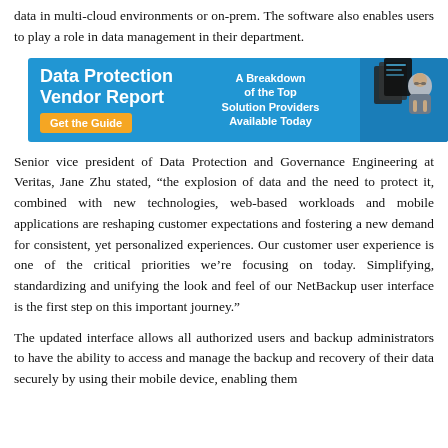data in multi-cloud environments or on-prem. The software also enables users to play a role in data management in their department.
[Figure (infographic): Advertisement banner for 'Data Protection Vendor Report' with blue background, orange 'Get the Guide' button, text 'A Breakdown of the Top Solution Providers Available Today', and a photo of a person on the right.]
Senior vice president of Data Protection and Governance Engineering at Veritas, Jane Zhu stated, “the explosion of data and the need to protect it, combined with new technologies, web-based workloads and mobile applications are reshaping customer expectations and fostering a new demand for consistent, yet personalized experiences. Our customer user experience is one of the critical priorities we’re focusing on today. Simplifying, standardizing and unifying the look and feel of our NetBackup user interface is the first step on this important journey.”
The updated interface allows all authorized users and backup administrators to have the ability to access and manage the backup and recovery of their data securely by using their mobile device, enabling them